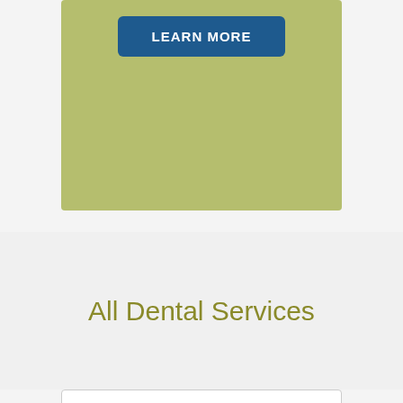[Figure (other): Olive/khaki green banner card with a dark blue 'LEARN MORE' button at the top center]
All Dental Services
[Figure (other): White card/panel with a light gray border at the bottom of the page]